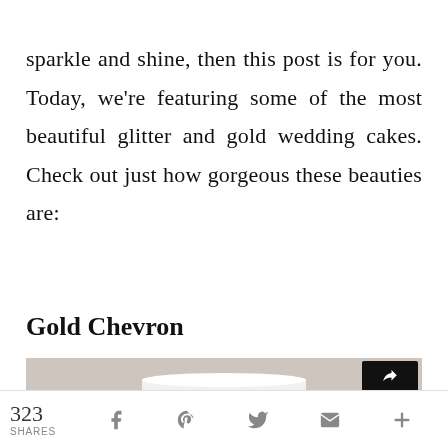sparkle and shine, then this post is for you. Today, we're featuring some of the most beautiful glitter and gold wedding cakes. Check out just how gorgeous these beauties are:
Gold Chevron
[Figure (photo): Partial view of a white tiered wedding cake against a beige/gray background, with a black share button icon in the top right corner.]
323 SHARES [Facebook] [Pinterest] [Twitter] [Email] [+]